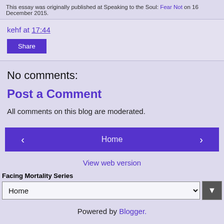This essay was originally published at Speaking to the Soul: Fear Not on 16 December 2015.
kehf at 17:44
Share
No comments:
Post a Comment
All comments on this blog are moderated.
< Home >
View web version
Facing Mortality Series
Home
Powered by Blogger.